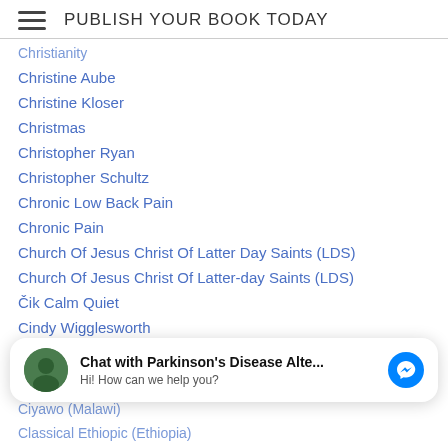PUBLISH YOUR BOOK TODAY
Christianity
Christine Aube
Christine Kloser
Christmas
Christopher Ryan
Christopher Schultz
Chronic Low Back Pain
Chronic Pain
Church Of Jesus Christ Of Latter Day Saints (LDS)
Church Of Jesus Christ Of Latter-day Saints (LDS)
Čik Calm Quiet
Cindy Wigglesworth
Cingulate Gyrus - Brain
Circadian Rhythms
[Figure (other): Chat widget overlay: avatar of Parkinson's Disease Alte... page, bold title 'Chat with Parkinson's Disease Alte...' subtitle 'Hi! How can we help you?' and Facebook Messenger blue icon]
Ciyawo (Malawi)
Classical Ethiopic (Ethiopia)